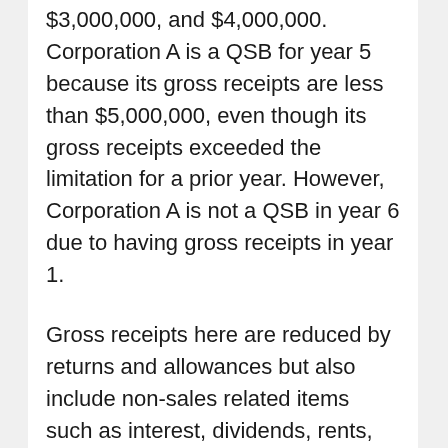$3,000,000, and $4,000,000.  Corporation A is a QSB for year 5 because its gross receipts are less than $5,000,000, even though its gross receipts exceeded the limitation for a prior year.  However, Corporation A is not a QSB in year 6 due to having gross receipts in year 1.
Gross receipts here are reduced by returns and allowances but also include non-sales related items such as interest, dividends, rents, royalties.  These receipts must also be adjusted to account for predecessor entities meaning that past mergers and acquisitions are relevant to this calculation.  One must also adjust for any entities or individuals